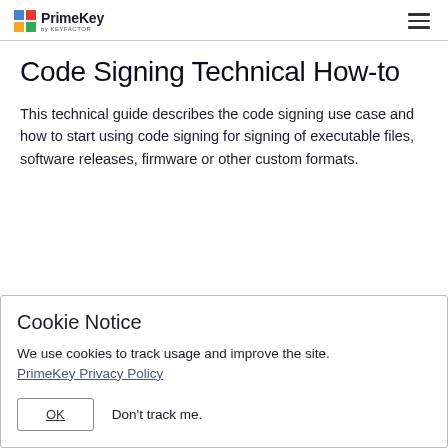PrimeKey by Keyfactor
Code Signing Technical How-to
This technical guide describes the code signing use case and how to start using code signing for signing of executable files, software releases, firmware or other custom formats.
Cookie Notice
We use cookies to track usage and improve the site. PrimeKey Privacy Policy
OK  Don't track me.